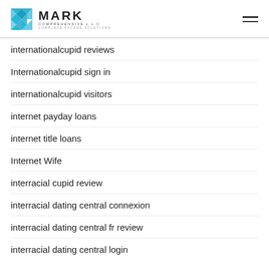[Figure (logo): Mark Comprehensive LLC logo with blue geometric pattern and company name]
internationalcupid reviews
Internationalcupid sign in
internationalcupid visitors
internet payday loans
internet title loans
Internet Wife
interracial cupid review
interracial dating central connexion
interracial dating central fr review
interracial dating central login